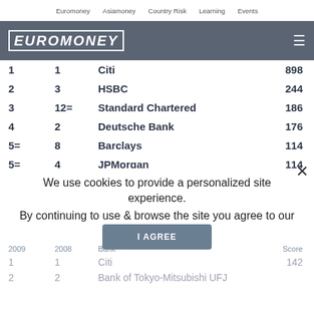Euromoney  Asiamoney  Country Risk  Learning  Events
EUROMONEY
| 2009 | 2008 | Bank | Score |
| --- | --- | --- | --- |
| 1 | 1 | Citi | 898 |
| 2 | 3 | HSBC | 244 |
| 3 | 12= | Standard Chartered | 186 |
| 4 | 2 | Deutsche Bank | 176 |
| 5= | 8 | Barclays | 114 |
| 5= | 4 | JPMorgan | 114 |
| 7 |  | Bank of New York Mellon | 70 |
| 8 | 11 | Standard Bank | 58 |
| 9= |  | China Merchants Bank | 56 |
Yen transaction
We use cookies to provide a personalized site experience. By continuing to use & browse the site you agree to our Privacy Policy.
I AGREE